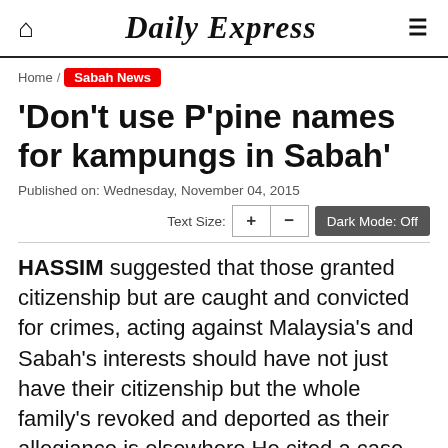Daily Express
Home / Sabah News
'Don't use P'pine names for kampungs in Sabah'
Published on: Wednesday, November 04, 2015
Text Size: + -  Dark Mode: Off
HASSIM suggested that those granted citizenship but are caught and convicted for crimes, acting against Malaysia's and Sabah's interests should have not just have their citizenship but the whole family's revoked and deported as their allegiance is elsewhere.He cited a case during the height of the Ops